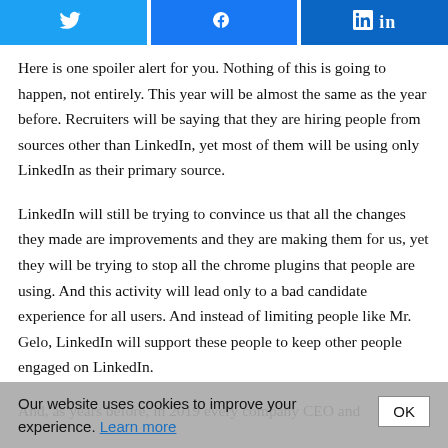[Figure (infographic): Three social share buttons: Twitter (blue bird icon), Facebook (blue f icon), LinkedIn (blue 'in' icon)]
Here is one spoiler alert for you. Nothing of this is going to happen, not entirely. This year will be almost the same as the year before. Recruiters will be saying that they are hiring people from sources other than LinkedIn, yet most of them will be using only LinkedIn as their primary source.
LinkedIn will still be trying to convince us that all the changes they made are improvements and they are making them for us, yet they will be trying to stop all the chrome plugins that people are using. And this activity will lead only to a bad candidate experience for all users. And instead of limiting people like Mr. Gelo, LinkedIn will support these people to keep other people engaged on LinkedIn.
And, as years before, in 2019 every company CEO and
Our website uses cookies to improve your experience. Learn more